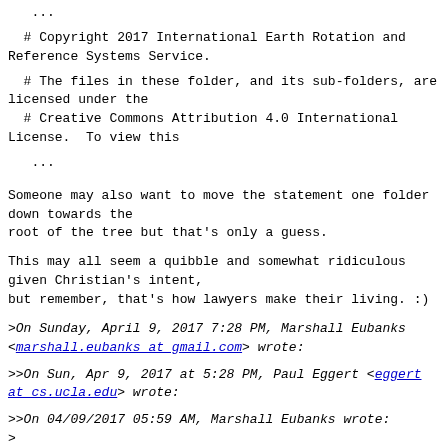...
# Copyright 2017 International Earth Rotation and Reference Systems Service.
# The files in these folder, and its sub-folders, are licensed under the
  # Creative Commons Attribution 4.0 International License.  To view this
...
Someone may also want to move the statement one folder down towards the
root of the tree but that's only a guess.
This may all seem a quibble and somewhat ridiculous given Christian's intent,
but remember, that's how lawyers make their living. :)
>On Sunday, April 9, 2017 7:28 PM, Marshall Eubanks <marshall.eubanks at gmail.com> wrote:
>>On Sun, Apr 9, 2017 at 5:28 PM, Paul Eggert <eggert at cs.ucla.edu> wrote:
>>On 04/09/2017 05:59 AM, Marshall Eubanks wrote:
>